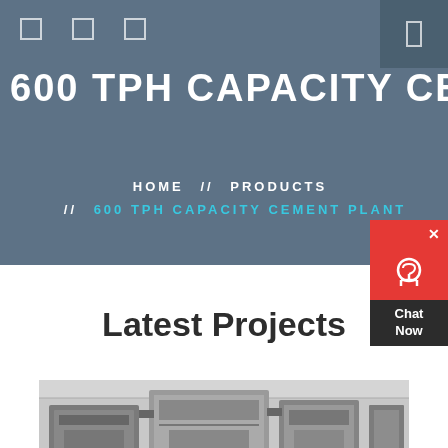600 TPH CAPACITY CEMENT PLANT
HOME // PRODUCTS // 600 TPH CAPACITY CEMENT PLANT
[Figure (screenshot): Chat Now widget with red background and headset icon]
Latest Projects
[Figure (photo): Industrial cement plant machinery interior showing large metal equipment structures]